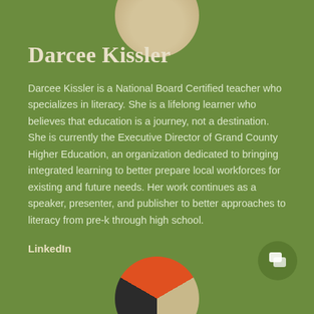[Figure (illustration): Partial circular avatar/photo cropped at top of page]
Darcee Kissler
Darcee Kissler is a National Board Certified teacher who specializes in literacy. She is a lifelong learner who believes that education is a journey, not a destination. She is currently the Executive Director of Grand County Higher Education, an organization dedicated to bringing integrated learning to better prepare local workforces for existing and future needs. Her work continues as a speaker, presenter, and publisher to better approaches to literacy from pre-k through high school.
LinkedIn
[Figure (illustration): Partial circular decorative element cropped at bottom of page]
[Figure (illustration): Chat button icon bottom right]